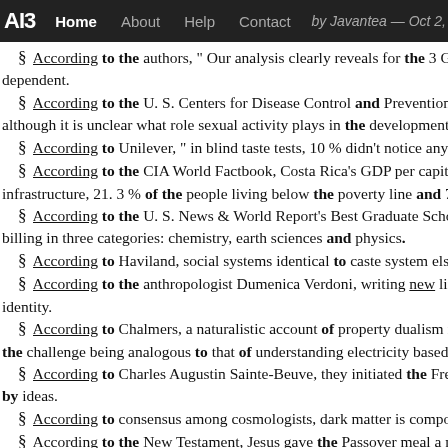AI3  Home  About  Help  Contact  by Javantea — Oct 2,
§ According to the authors, " Our analysis clearly reveals for the 3 GMOs ne dependent.
§ According to the U. S. Centers for Disease Control and Prevention ( CDC although it is unclear what role sexual activity plays in the development of BV.
§ According to Unilever, " in blind taste tests, 10 % didn't notice any differen
§ According to the CIA World Factbook, Costa Rica's GDP per capita is US infrastructure, 21. 3 % of the people living below the poverty line and 7. 8 % (
§ According to the U. S. News & World Report's Best Graduate Schools 201 billing in three categories: chemistry, earth sciences and physics.
§ According to Haviland, social systems identical to caste system elsewhere
§ According to the anthropologist Dumenica Verdoni, writing new literature identity.
§ According to Chalmers, a naturalistic account of property dualism requires the challenge being analogous to that of understanding electricity based on the n
§ According to Charles Augustin Sainte-Beuve, they initiated the French into by ideas.
§ According to consensus among cosmologists, dark matter is composed prim
§ According to the New Testament, Jesus gave the Passover meal a new mea the Last Supper.
§ According to the Peterson Institute for International Economics and other